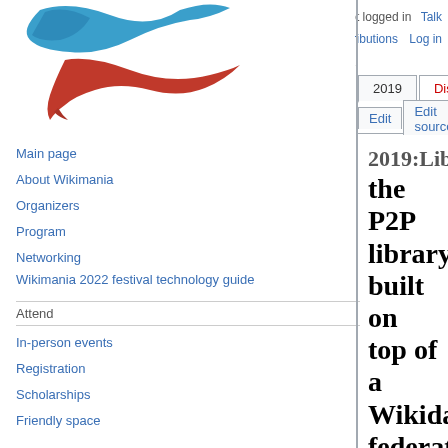English  Not logged in  Talk  Contributions  Log in
2019  Discussion  Edit  Edit source  View history  More  Search Wikimania
[Figure (logo): Wikimania logo with blue bird and red swoosh]
Main page
About Wikimania
Organizers
Program
Networking
Wikimania 2022 festival technology guide
Attend
In-person events
Registration
Scholarships
Friendly space
2019:Libraries/Inventa... the P2P library built on top of a Wikidata-federated open bibliographic database
< 2019:Libraries
This is an Accepted submission for the Libraries space at